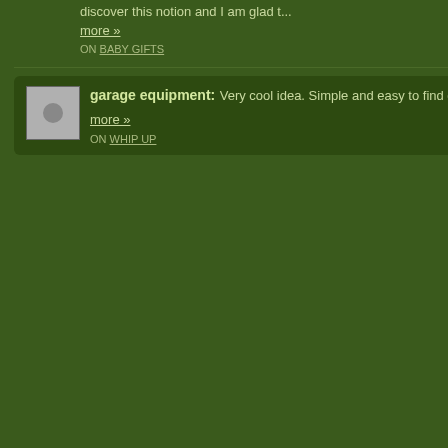discover this notion and I am glad t...
more »
ON BABY GIFTS
garage equipment: Very cool idea. Simple and easy to find gift. V...
more »
ON WHIP UP
And I actually got t... was disappointed w... The best bit was th...
I want to leave you... is my rock, my she...
I made his favorite
Have fun at the cra...
May 6, 2010 10:56:1
Com
The comments to t
P
Writings on the W he gets to be a big at the canteen. Thu